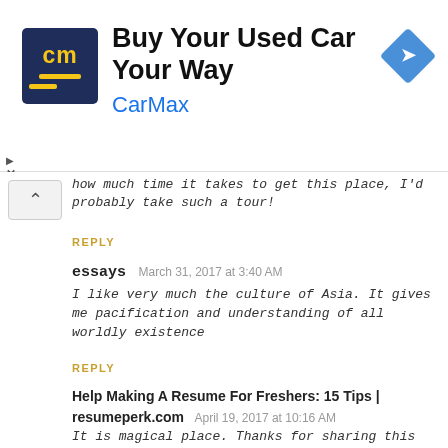[Figure (screenshot): CarMax advertisement banner with dark blue logo showing 'cm' in yellow, title 'Buy Your Used Car Your Way', subtitle 'CarMax' in blue, and a blue diamond navigation arrow icon on the right.]
how much time it takes to get this place, I'd probably take such a tour!
REPLY
essays  March 31, 2017 at 3:40 AM
I like very much the culture of Asia. It gives me pacification and understanding of all worldly existence
REPLY
Help Making A Resume For Freshers: 15 Tips | resumeperk.com  April 19, 2017 at 10:16 AM
It is magical place. Thanks for sharing this photos. I even remembered my little adventure five years ago.